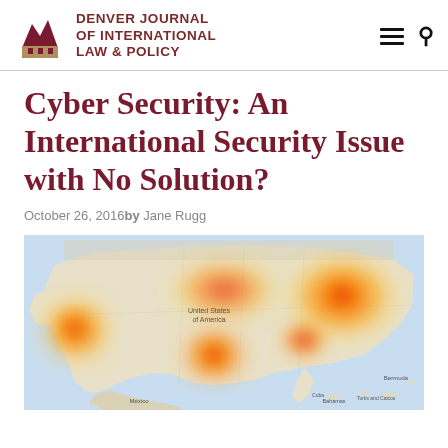Denver Journal of International Law & Policy
Cyber Security: An International Security Issue with No Solution?
October 26, 2016by Jane Rugg
[Figure (map): Heat map of the United States showing cyberattack or internet outage intensity, with red hotspots concentrated on the East Coast, West Coast, and central regions. Labels visible include 'United States of America', 'Bermuda', 'Bahamas', 'Cuba', 'Turks and Caicos', 'Mexico'.]